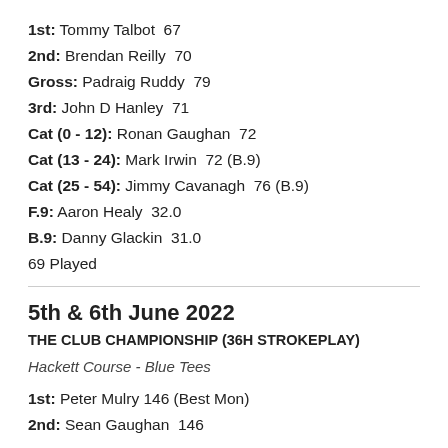1st: Tommy Talbot  67
2nd: Brendan Reilly  70
Gross: Padraig Ruddy  79
3rd: John D Hanley  71
Cat (0 - 12): Ronan Gaughan  72
Cat (13 - 24): Mark Irwin  72 (B.9)
Cat (25 - 54): Jimmy Cavanagh  76 (B.9)
F.9: Aaron Healy  32.0
B.9: Danny Glackin  31.0
69 Played
5th & 6th June 2022
THE CLUB CHAMPIONSHIP (36H STROKEPLAY)
Hackett Course - Blue Tees
1st: Peter Mulry 146 (Best Mon)
2nd: Sean Gaughan  146